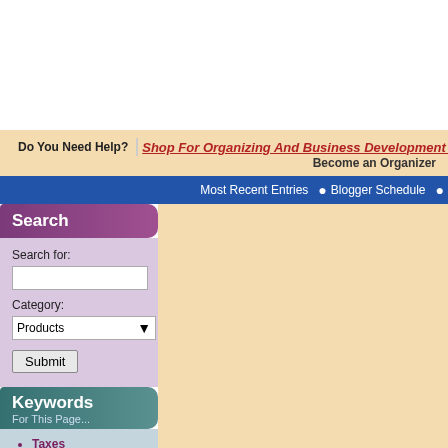Do You Need Help? Shop For Organizing And Business Development Products   Become an Organizer
Most Recent Entries • Blogger Schedule
Search
Search for:
Category: Products
Submit
Keywords For This Page...
Taxes
Simplify
Products Related To This Page...
WoodWorx File Combos
The Clutter Bug